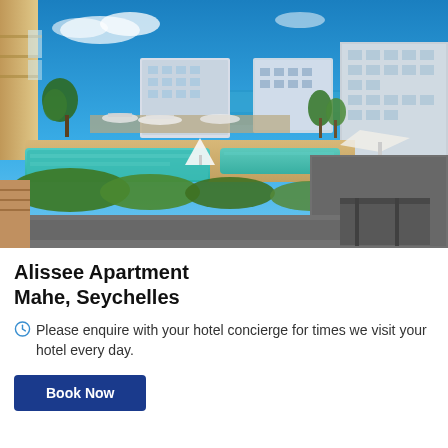[Figure (photo): Aerial/elevated view of a luxury apartment complex with a large outdoor swimming pool, marina with boats, lush tropical greenery, and modern residential buildings under a bright blue sky. Location appears to be a waterfront development.]
Alissee Apartment
Mahe, Seychelles
Please enquire with your hotel concierge for times we visit your hotel every day.